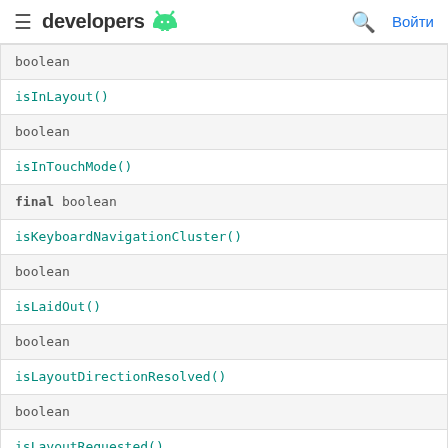≡ developers 🤖  🔍 Войти
| boolean |
| isInLayout() |
| boolean |
| isInTouchMode() |
| final boolean |
| isKeyboardNavigationCluster() |
| boolean |
| isLaidOut() |
| boolean |
| isLayoutDirectionResolved() |
| boolean |
| isLayoutRequested() |
| boolean |
| isLongClickable() |